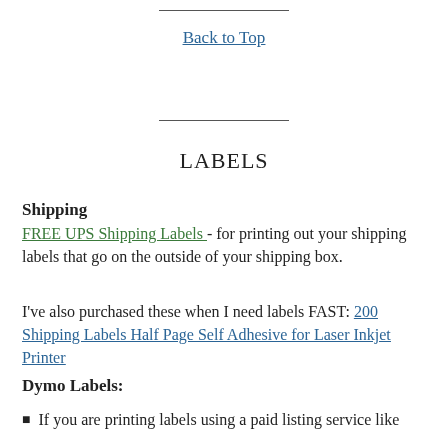Back to Top
LABELS
Shipping
FREE UPS Shipping Labels - for printing out your shipping labels that go on the outside of your shipping box.
I've also purchased these when I need labels FAST: 200 Shipping Labels Half Page Self Adhesive for Laser Inkjet Printer
Dymo Labels:
If you are printing labels using a paid listing service like